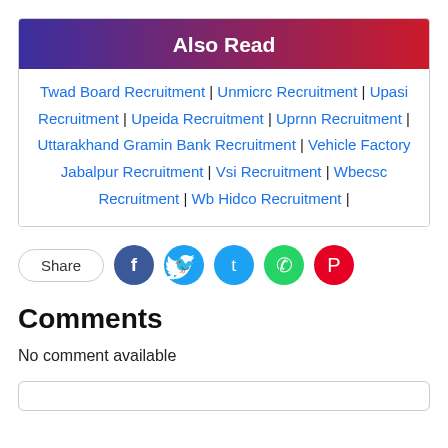Also Read
Twad Board Recruitment | Unmicrc Recruitment | Upasi Recruitment | Upeida Recruitment | Uprnn Recruitment | Uttarakhand Gramin Bank Recruitment | Vehicle Factory Jabalpur Recruitment | Vsi Recruitment | Wbecsc Recruitment | Wb Hidco Recruitment |
[Figure (infographic): Share row with Share label button and social media icons: Facebook (dark blue), Twitter (light blue), WhatsApp (green), Pinterest (red)]
Comments
No comment available